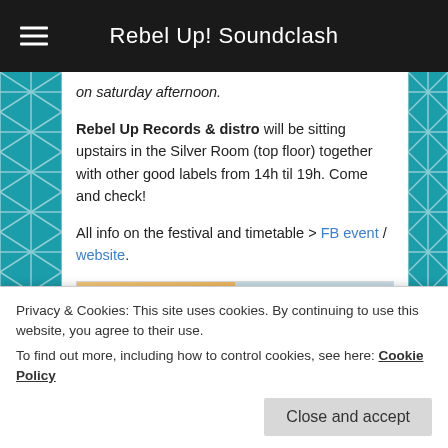Rebel Up! Soundclash
on saturday afternoon.
Rebel Up Records & distro will be sitting upstairs in the Silver Room (top floor) together with other good labels from 14h til 19h. Come and check!
All info on the festival and timetable > FB event / website.
[Figure (illustration): Event flyer showing two halves: left side has warm orange/amber background with text 'LE RESERVOIR INVITE REBEL UP!' in dark navy; right side has light blue background with large bold text 'REBEL UP' in dark navy.]
Privacy & Cookies: This site uses cookies. By continuing to use this website, you agree to their use.
To find out more, including how to control cookies, see here: Cookie Policy
Close and accept